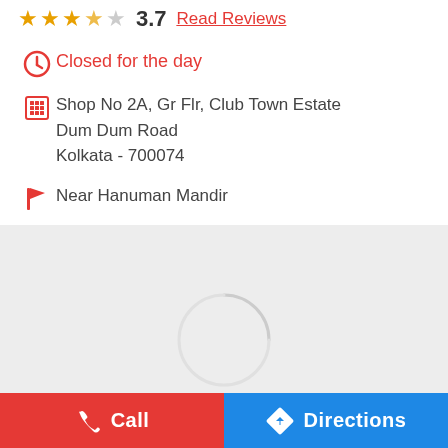★★★☆☆ 3.7 Read Reviews
Closed for the day
Shop No 2A, Gr Flr, Club Town Estate
Dum Dum Road
Kolkata - 700074
Near Hanuman Mandir
[Figure (map): Loading map placeholder with spinner]
Call | Directions